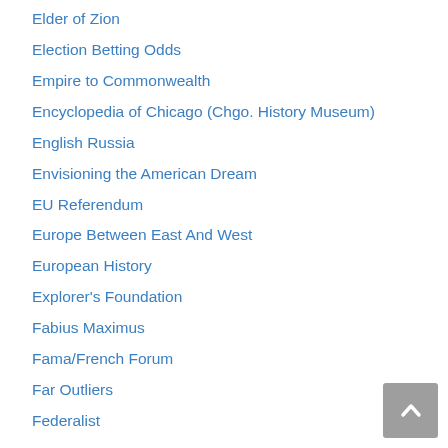Elder of Zion
Election Betting Odds
Empire to Commonwealth
Encyclopedia of Chicago (Chgo. History Museum)
English Russia
Envisioning the American Dream
EU Referendum
Europe Between East And West
European History
Explorer's Foundation
Fabius Maximus
Fama/French Forum
Far Outliers
Federalist